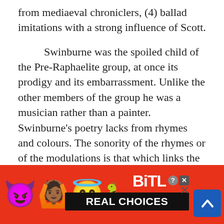from mediaeval chroniclers, (4) ballad imitations with a strong influence of Scott.
Swinburne was the spoiled child of the Pre-Raphaelite group, at once its prodigy and its embarrassment. Unlike the other members of the group he was a musician rather than a painter. Swinburne's poetry lacks from rhymes and colours. The sonority of the rhymes or of the modulations is that which links the verses together Swinburne's passion was sincere but it was neither very personal not very mastery shone forth in the extraordinary lyrical fervour and exuberance
[Figure (other): BitLife mobile game advertisement banner with emoji characters (devil, person with raised hands, angel/halo emoji, sperm emoji), BitLife logo, 'REAL CHOICES' text on dark background, and a blue scroll-to-top button]